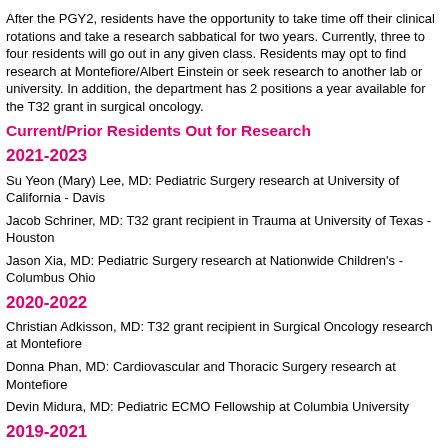After the PGY2, residents have the opportunity to take time off their clinical rotations and take a research sabbatical for two years. Currently, three to four residents will go out in any given class. Residents may opt to find research at Montefiore/Albert Einstein or seek research to another lab or university. In addition, the department has 2 positions a year available for the T32 grant in surgical oncology.
Current/Prior Residents Out for Research
2021-2023
Su Yeon (Mary) Lee, MD: Pediatric Surgery research at University of California - Davis
Jacob Schriner, MD: T32 grant recipient in Trauma at University of Texas - Houston
Jason Xia, MD: Pediatric Surgery research at Nationwide Children's - Columbus Ohio
2020-2022
Christian Adkisson, MD: T32 grant recipient in Surgical Oncology research at Montefiore
Donna Phan, MD: Cardiovascular and Thoracic Surgery research at Montefiore
Devin Midura, MD: Pediatric ECMO Fellowship at Columbia University
2019-2021